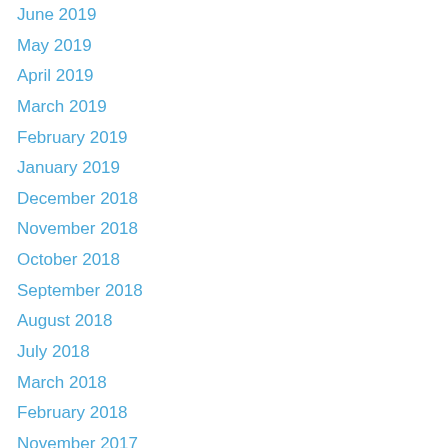June 2019
May 2019
April 2019
March 2019
February 2019
January 2019
December 2018
November 2018
October 2018
September 2018
August 2018
July 2018
March 2018
February 2018
November 2017
October 2017
September 2017
August 2017
July 2017
June 2017